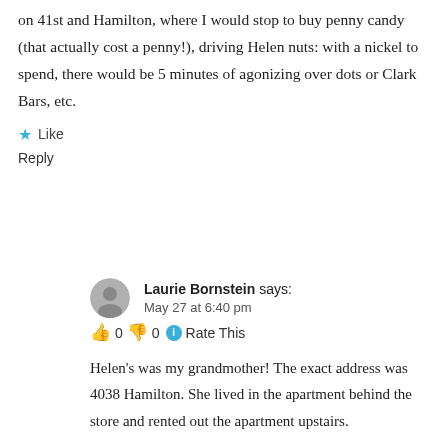on 41st and Hamilton, where I would stop to buy penny candy (that actually cost a penny!), driving Helen nuts: with a nickel to spend, there would be 5 minutes of agonizing over dots or Clark Bars, etc.
★ Like
Reply
Laurie Bornstein says: May 27 at 6:40 pm 👍 0 👎 0 ℹ Rate This
Helen's was my grandmother! The exact address was 4038 Hamilton. She lived in the apartment behind the store and rented out the apartment upstairs.